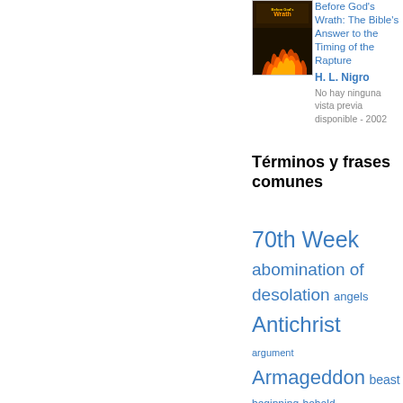[Figure (photo): Book cover of 'Before God's Wrath' with dark cover and flame imagery]
Before God's Wrath: The Bible's Answer to the Timing of the Rapture
H. L. Nigro
No hay ninguna vista previa disponible - 2002
Términos y frases comunes
70th Week  abomination of desolation  angels  Antichrist  argument  Armageddon  beast  beginning  behold  believers  Bible  biblical  blood  bodily return  bowl judgments